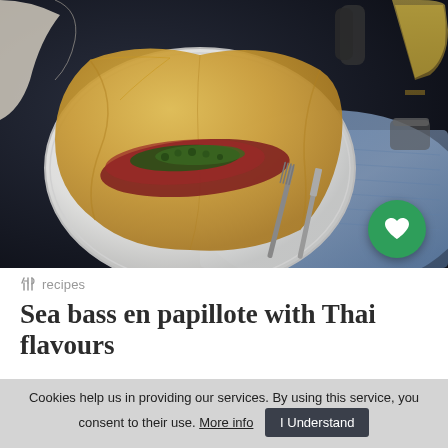[Figure (photo): Food photography showing sea bass en papillote in a white bowl, with golden parchment paper, on a blue napkin, with fork and knife beside it on a dark table. A wine glass is visible top right. A green circular heart/favorite button overlays the bottom right.]
✕ recipes
Sea bass en papillote with Thai flavours
★★★
Cookies help us in providing our services. By using this service, you consent to their use. More info   I Understand